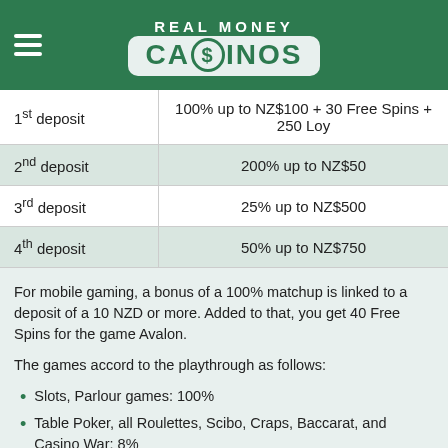[Figure (logo): Real Money Casinos logo with hamburger menu on green header background]
| Deposit | Bonus |
| --- | --- |
| 1st deposit | 100% up to NZ$100 + 30 Free Spins + 250 Loy |
| 2nd deposit | 200% up to NZ$50 |
| 3rd deposit | 25% up to NZ$500 |
| 4th deposit | 50% up to NZ$750 |
For mobile gaming, a bonus of a 100% matchup is linked to a deposit of a 10 NZD or more. Added to that, you get 40 Free Spins for the game Avalon.
The games accord to the playthrough as follows:
Slots, Parlour games: 100%
Table Poker, all Roulettes, Scibo, Craps, Baccarat, and Casino War: 8%
Video Poker and all Blackjacks: 2%